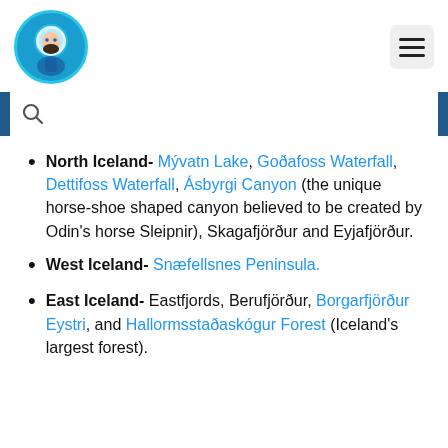[Figure (logo): Circular avatar icon with a cartoon diver character in blue tones, bordered with cyan/light blue circle]
[Figure (other): Hamburger menu icon (three horizontal lines) in a light grey rounded rectangle]
[Figure (other): Search bar with magnifying glass icon on dark blue background]
North Iceland- Mývatn Lake, Goðafoss Waterfall, Dettifoss Waterfall, Ásbyrgi Canyon (the unique horse-shoe shaped canyon believed to be created by Odin's horse Sleipnir), Skagafjörður and Eyjafjörður.
West Iceland- Snæfellsnes Peninsula.
East Iceland- Eastfjords, Berufjörður, Borgarfjörður Eystri, and Hallormsstaðaskógur Forest (Iceland's largest forest).